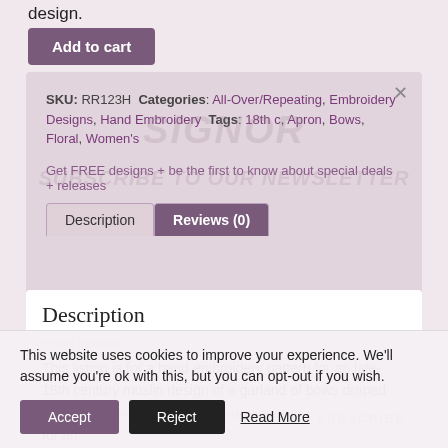design.
Add to cart
SKU: RR123H Categories: All-Over/Repeating, Embroidery Designs, Hand Embroidery Tags: 18th c, Apron, Bows, Floral, Women's
Get FREE designs + be the first to know about special deals + releases
Description
Reviews (0)
Description
Email address
This listing is for a hand embroidery pattern for an late-18th century muslin design of a garland of bows draped with greenery or wisteria. This design is based on a sketch for an
SUBSCRIBE
This website uses cookies to improve your experience. We'll assume you're ok with this, but you can opt-out if you wish.
Accept
Reject
Read More